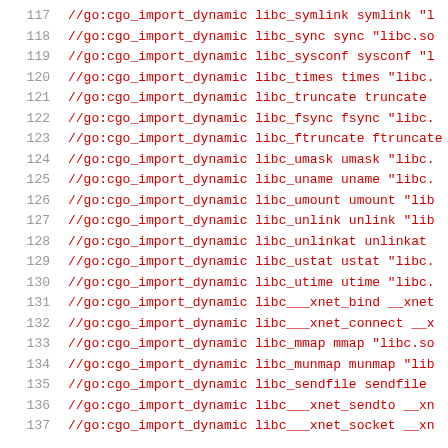117  //go:cgo_import_dynamic libc_symlink symlink "l
118  //go:cgo_import_dynamic libc_sync sync "libc.so
119  //go:cgo_import_dynamic libc_sysconf sysconf "l
120  //go:cgo_import_dynamic libc_times times "libc.
121  //go:cgo_import_dynamic libc_truncate truncate
122  //go:cgo_import_dynamic libc_fsync fsync "libc.
123  //go:cgo_import_dynamic libc_ftruncate ftruncate
124  //go:cgo_import_dynamic libc_umask umask "libc.
125  //go:cgo_import_dynamic libc_uname uname "libc.
126  //go:cgo_import_dynamic libc_umount umount "lib
127  //go:cgo_import_dynamic libc_unlink unlink "lib
128  //go:cgo_import_dynamic libc_unlinkat unlinkat
129  //go:cgo_import_dynamic libc_ustat ustat "libc.
130  //go:cgo_import_dynamic libc_utime utime "libc.
131  //go:cgo_import_dynamic libc___xnet_bind __xnet
132  //go:cgo_import_dynamic libc___xnet_connect __x
133  //go:cgo_import_dynamic libc_mmap mmap "libc.so
134  //go:cgo_import_dynamic libc_munmap munmap "lib
135  //go:cgo_import_dynamic libc_sendfile sendfile
136  //go:cgo_import_dynamic libc___xnet_sendto __xn
137  //go:cgo_import_dynamic libc___xnet_socket __xn